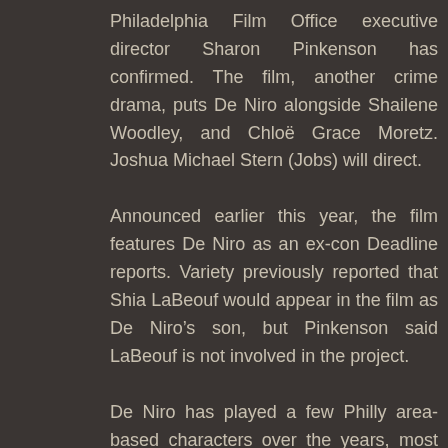Philadelphia Film Office executive director Sharon Pinkenson has confirmed. The film, another crime drama, puts De Niro alongside Shailene Woodley, and Chloë Grace Moretz. Joshua Michael Stern (Jobs) will direct.
Announced earlier this year, the film features De Niro as an ex-con Deadline reports. Variety previously reported that Shia LaBeouf would appear in the film as De Niro's son, but Pinkenson said LaBeouf is not involved in the project.
De Niro has played a few Philly area-based characters over the years, most recently Sheeran, a reputed mobster from Darby